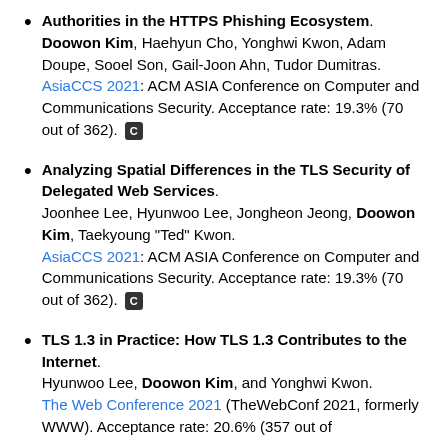Authorities in the HTTPS Phishing Ecosystem. Doowon Kim, Haehyun Cho, Yonghwi Kwon, Adam Doupe, Sooel Son, Gail-Joon Ahn, Tudor Dumitras. AsiaCCS 2021: ACM ASIA Conference on Computer and Communications Security. Acceptance rate: 19.3% (70 out of 362). [C]
Analyzing Spatial Differences in the TLS Security of Delegated Web Services. Joonhee Lee, Hyunwoo Lee, Jongheon Jeong, Doowon Kim, Taekyoung "Ted" Kwon. AsiaCCS 2021: ACM ASIA Conference on Computer and Communications Security. Acceptance rate: 19.3% (70 out of 362). [C]
TLS 1.3 in Practice: How TLS 1.3 Contributes to the Internet. Hyunwoo Lee, Doowon Kim, and Yonghwi Kwon. The Web Conference 2021 (TheWebConf 2021, formerly WWW). Acceptance rate: 20.6% (357 out of